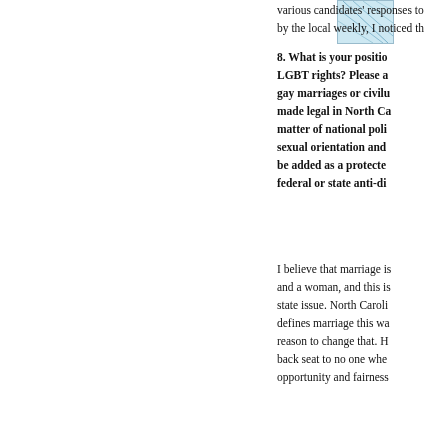[Figure (illustration): Small decorative image in upper right area, light blue/teal geometric pattern]
various candidates' responses to
by the local weekly, I noticed th
8. What is your positio
LGBT rights? Please a
gay marriages or civilu
made legal in North Ca
matter of national poli
sexual orientation and
be added as a protecte
federal or state anti-di
I believe that marriage is
and a woman, and this is
state issue. North Caroli
defines marriage this wa
reason to change that. H
back seat to no one whe
opportunity and fairness